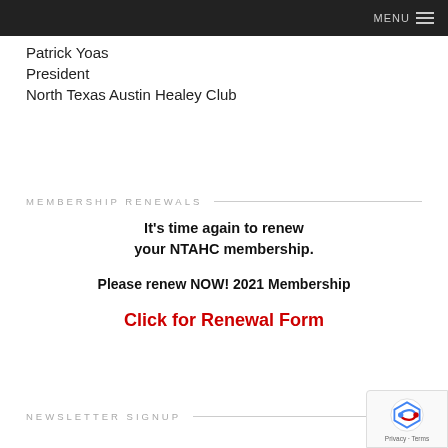MENU
Patrick Yoas
President
North Texas Austin Healey Club
MEMBERSHIP RENEWALS
It’s time again to renew your NTAHC membership.
Please renew NOW! 2021 Membership
Click for Renewal Form
NEWSLETTER SIGNUP